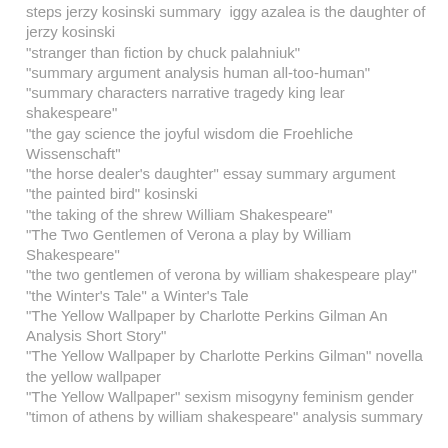steps jerzy kosinski summary  iggy azalea is the daughter of jerzy kosinski
"stranger than fiction by chuck palahniuk"
"summary argument analysis human all-too-human"
"summary characters narrative tragedy king lear shakespeare"
"the gay science the joyful wisdom die Froehliche Wissenschaft"
"the horse dealer's daughter" essay summary argument
"the painted bird" kosinski
"the taking of the shrew William Shakespeare"
"The Two Gentlemen of Verona a play by William Shakespeare"
"the two gentlemen of verona by william shakespeare play"
"the Winter's Tale" a Winter's Tale
"The Yellow Wallpaper by Charlotte Perkins Gilman An Analysis Short Story"
"The Yellow Wallpaper by Charlotte Perkins Gilman" novella the yellow wallpaper
"The Yellow Wallpaper" sexism misogyny feminism gender
"timon of athens by william shakespeare" analysis summary